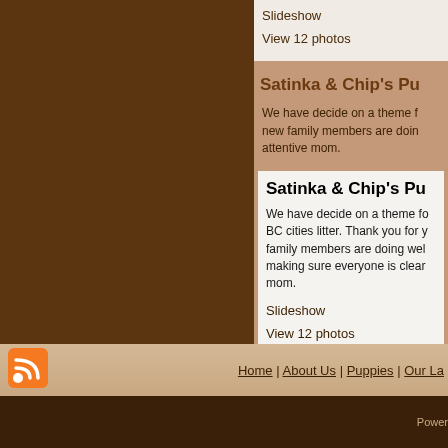Slideshow
View 12 photos
Satinka & Chip's Pu
We have decide on a theme f... new family members are doin... attentive mom.
Satinka & Chip's Pu
We have decide on a theme fo... BC cities litter. Thank you for y... family members are doing wel... making sure everyone is clear... mom.
Slideshow
View 12 photos
Home | About Us | Puppies |Our La... Powered
[Figure (logo): RSS feed orange icon]